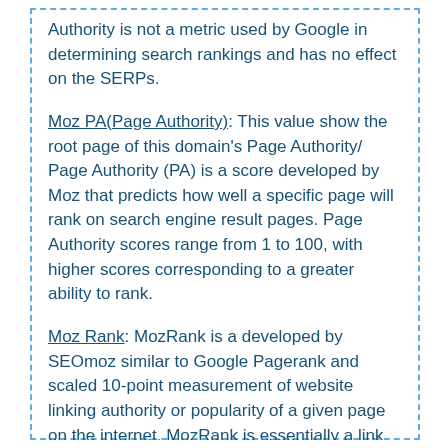Authority is not a metric used by Google in determining search rankings and has no effect on the SERPs.
Moz PA(Page Authority): This value show the root page of this domain's Page Authority/ Page Authority (PA) is a score developed by Moz that predicts how well a specific page will rank on search engine result pages. Page Authority scores range from 1 to 100, with higher scores corresponding to a greater ability to rank.
Moz Rank: MozRank is a developed by SEOmoz similar to Google Pagerank and scaled 10-point measurement of website linking authority or popularity of a given page on the internet. MozRank is essentially a link popularity score that reflects the importance of a web page on the Internet in relation to others.